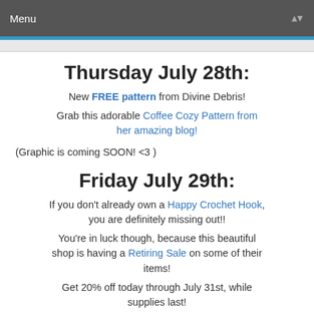Menu
Thursday July 28th:
New FREE pattern from Divine Debris!
Grab this adorable Coffee Cozy Pattern from her amazing blog!
(Graphic is coming SOON! <3 )
Friday July 29th:
If you don't already own a Happy Crochet Hook, you are definitely missing out!!
You're in luck though, because this beautiful shop is having a Retiring Sale on some of their items!
Get 20% off today through July 31st, while supplies last!